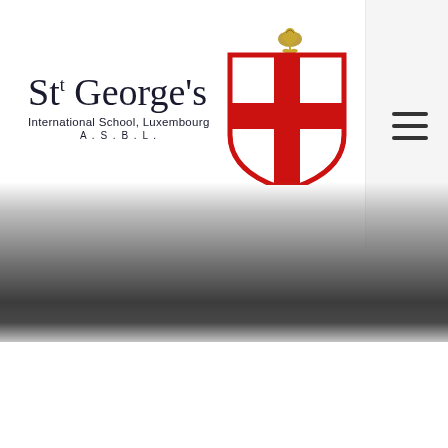[Figure (logo): St George's International School Luxembourg A.S.B.L. logo — text on left with school name and subtitle, red and gold shield crest on right]
[Figure (other): Hamburger menu icon (three horizontal bars) in a light gray panel on the top right]
[Figure (other): Dark gray gradient band across the lower middle portion of the page, fading in from top and fading out at bottom, with white space below]